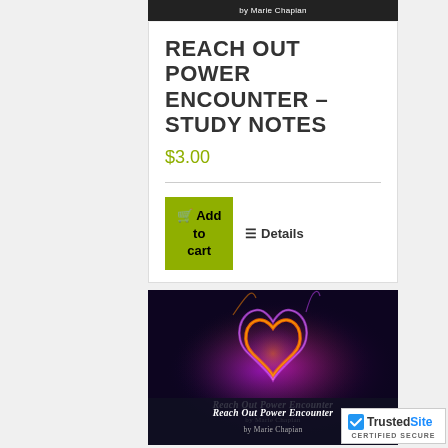by Marie Chapian
REACH OUT POWER ENCOUNTER – STUDY NOTES
$3.00
Add to cart
Details
[Figure (photo): Book cover for 'Reach Out Power Encounter' by Marie Chapian, showing a glowing heart shape made of flames and purple/orange light on a dark background, with the book title and author name at the bottom.]
[Figure (logo): TrustedSite badge with blue checkmark, text 'TrustedSite' and 'CERTIFIED SECURE' below.]